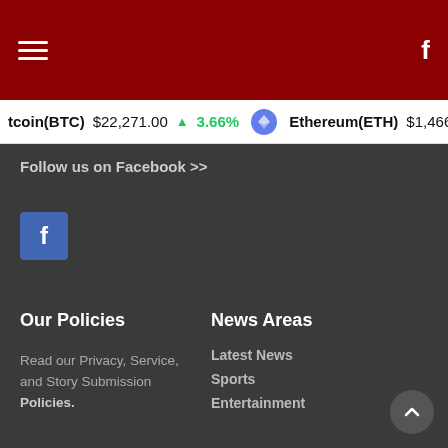Navigation header with hamburger menu and Facebook icon
tcoin(BTC) $22,271.00 ↑ 3.66% Ethereum(ETH) $1,466.09
Follow us on Facebook >>
[Figure (logo): Facebook icon button (blue square with white f)]
Our Policies
News Areas
Read our Privacy, Service, and Story Submission Policies.
Latest News
Sports
Entertainment